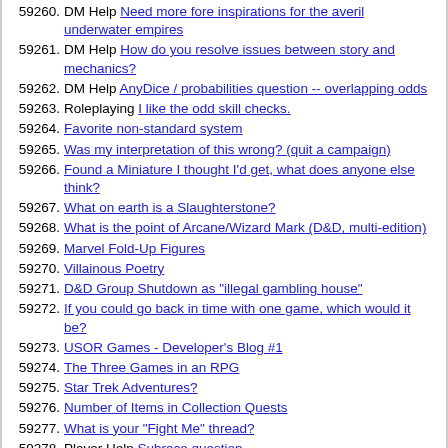59260. DM Help Need more fore inspirations for the averil underwater empires
59261. DM Help How do you resolve issues between story and mechanics?
59262. DM Help AnyDice / probabilities question -- overlapping odds
59263. Roleplaying I like the odd skill checks.
59264. Favorite non-standard system
59265. Was my interpretation of this wrong? (quit a campaign)
59266. Found a Miniature I thought I'd get, what does anyone else think?
59267. What on earth is a Slaughterstone?
59268. What is the point of Arcane/Wizard Mark (D&D, multi-edition)
59269. Marvel Fold-Up Figures
59270. Villainous Poetry
59271. D&D Group Shutdown as "illegal gambling house"
59272. If you could go back in time with one game, which would it be?
59273. USOR Games - Developer's Blog #1
59274. The Three Games in an RPG
59275. Star Trek Adventures?
59276. Number of Items in Collection Quests
59277. What is your "Fight Me" thread?
59278. Player Help Subrace question
59279. D&D Rambling. The "Christmas Tree Effect" is Realism(TM)
59280. Weird other dimensions and planes
59281. Thinking about making a Paladin who really loves justice.
59282. ...